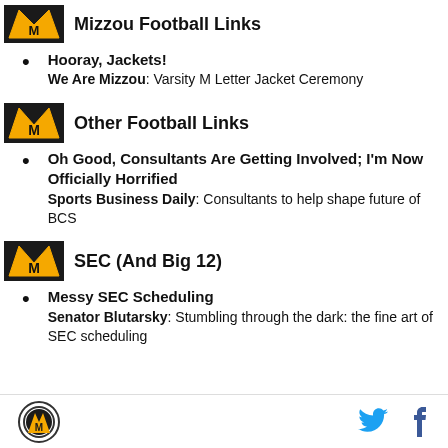Mizzou Football Links
Hooray, Jackets!
We Are Mizzou: Varsity M Letter Jacket Ceremony
Other Football Links
Oh Good, Consultants Are Getting Involved; I'm Now Officially Horrified
Sports Business Daily: Consultants to help shape future of BCS
SEC (And Big 12)
Messy SEC Scheduling
Senator Blutarsky: Stumbling through the dark: the fine art of SEC scheduling